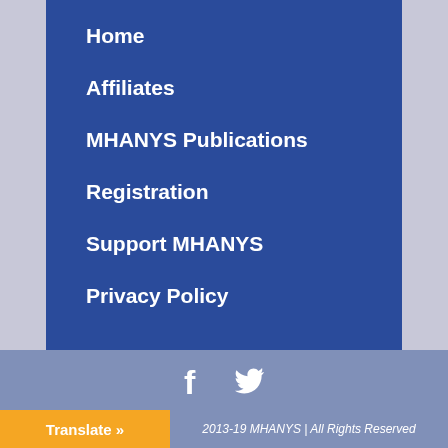Home
Affiliates
MHANYS Publications
Registration
Support MHANYS
Privacy Policy
[Figure (illustration): Social media icons: Facebook (f) and Twitter (bird) in white on a muted blue-gray background]
2013-19 MHANYS | All Rights Reserved
Translate »